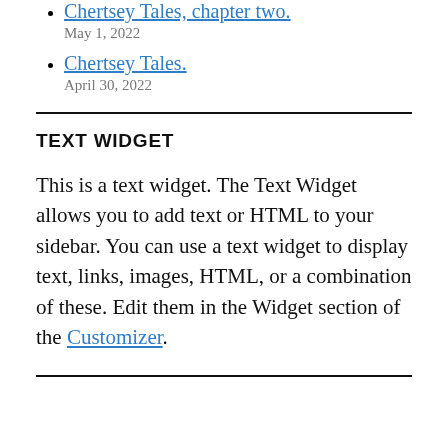Chertsey Tales, chapter two.
May 1, 2022
Chertsey Tales.
April 30, 2022
TEXT WIDGET
This is a text widget. The Text Widget allows you to add text or HTML to your sidebar. You can use a text widget to display text, links, images, HTML, or a combination of these. Edit them in the Widget section of the Customizer.